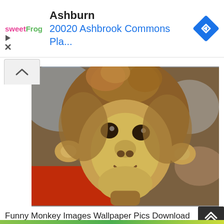[Figure (infographic): Advertisement banner: sweetFrog logo on left, text 'Ashburn' in bold black and '20020 Ashbrook Commons Pla...' in blue, navigation diamond icon on right]
[Figure (photo): Close-up photograph of a baby orangutan with tousled reddish-brown hair, yellowish face, and a slight smile. Background is blurred with blue and red elements.]
Funny Monkey Images Wallpaper Pics Download